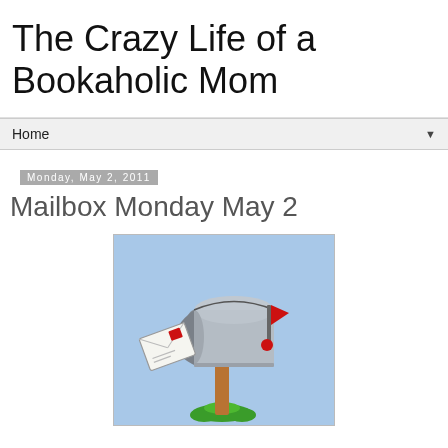The Crazy Life of a Bookaholic Mom
Home
Monday, May 2, 2011
Mailbox Monday May 2
[Figure (illustration): Cartoon illustration of a mailbox on a wooden post with a red flag up, an envelope flying out, and green grass at the base, on a light blue background.]